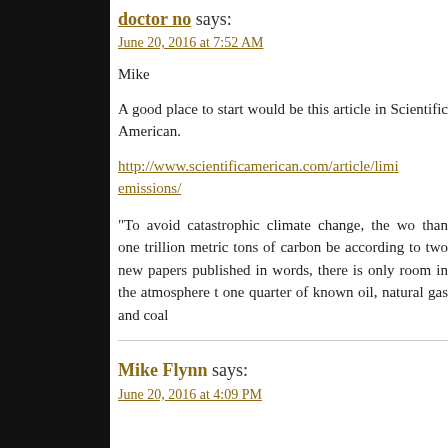doctor no says:
June 20, 2016 at 7:52 AM
Mike
A good place to start would be this article in Scientific American.
http://www.scientificamerican.com/article/limi emissions/
“To avoid catastrophic climate change, the wo than one trillion metric tons of carbon be according to two new papers published in words, there is only room in the atmosphere t one quarter of known oil, natural gas and coal
Mike Flynn says:
June 20, 2016 at 4:09 PM